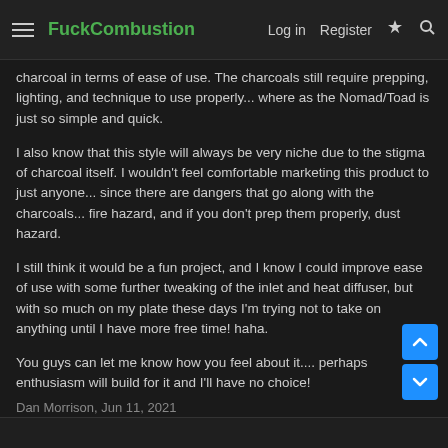FuckCombustion — Log in  Register
charcoal in terms of ease of use. The charcoals still require prepping, lighting, and technique to use properly... where as the Nomad/Toad is just so simple and quick.
I also know that this style will always be very niche due to the stigma of charcoal itself. I wouldn't feel comfortable marketing this product to just anyone... since there are dangers that go along with the charcoals... fire hazard, and if you don't prep them properly, dust hazard.
I still think it would be a fun project, and I know I could improve ease of use with some further tweaking of the inlet and heat diffuser, but with so much on my plate these days I'm trying not to take on anything until I have more free time! haha.
You guys can let me know how you feel about it.... perhaps enthusiasm will build for it and I'll have no choice!
Dan Morrison, Jun 11, 2021